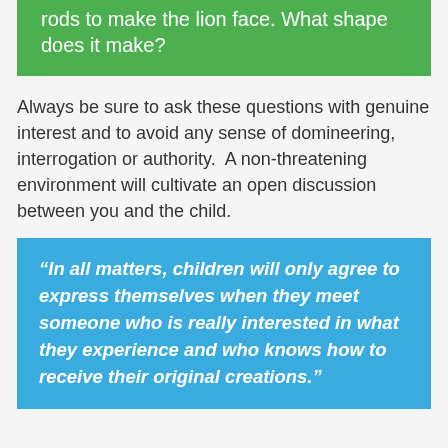rods to make the lion face. What shape does it make?
Always be sure to ask these questions with genuine interest and to avoid any sense of domineering, interrogation or authority.  A non-threatening environment will cultivate an open discussion between you and the child.
“In all matters, children will only agree to express themselves when they meet someone who is really interested in what they experience and who knows how to receive their original creations.”